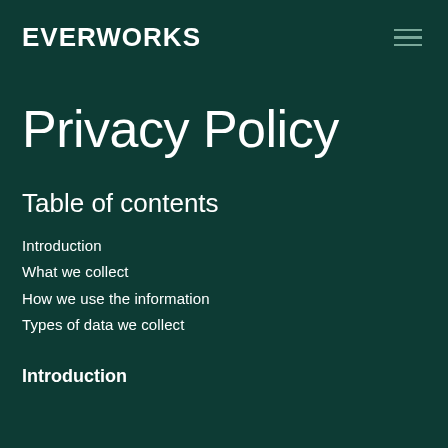EVERWORKS
Privacy Policy
Table of contents
Introduction
What we collect
How we use the information
Types of data we collect
Introduction